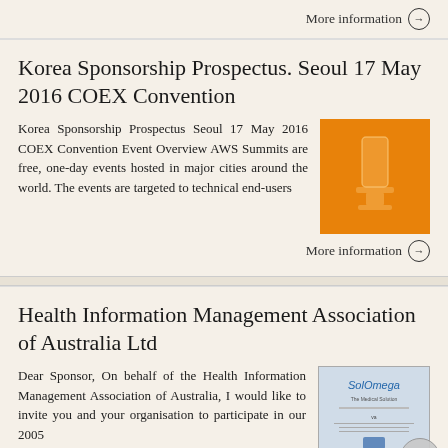More information →
Korea Sponsorship Prospectus. Seoul 17 May 2016 COEX Convention
Korea Sponsorship Prospectus Seoul 17 May 2016 COEX Convention Event Overview AWS Summits are free, one-day events hosted in major cities around the world. The events are targeted to technical end-users
[Figure (photo): Orange-tinted thumbnail image related to Korea Sponsorship Prospectus]
More information →
Health Information Management Association of Australia Ltd
Dear Sponsor, On behalf of the Health Information Management Association of Australia, I would like to invite you and your organisation to participate in our 2005
[Figure (photo): Health Information Management Association thumbnail image]